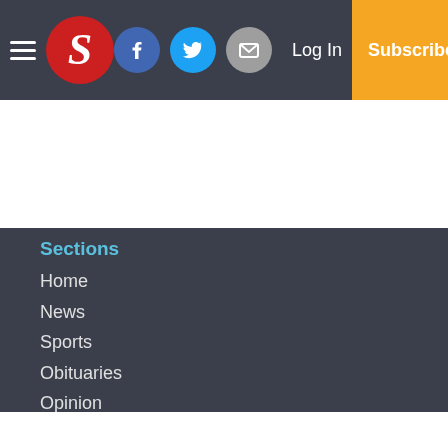Selma Times-Journal navigation bar with logo, social icons, Log In, Subscribe
Sections
Home
News
Sports
Obituaries
Opinion
Records
Classifieds
Small Business
Services
About Us
Subscriptions
Copyright
© 2022, The Selma Times-Journal